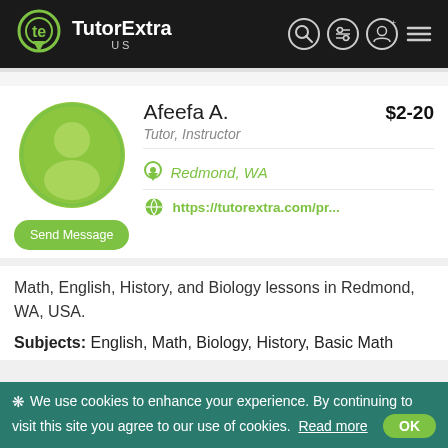[Figure (logo): TutorExtra US logo with navigation icons on dark header bar]
[Figure (photo): Default green avatar/profile silhouette icon in circular frame]
Afeefa A.
$2-20
Tutor, Instructor
Redmond, WA
https://tutorextra.com/pr...
Send Message
Math, English, History, and Biology lessons in Redmond, WA, USA.
Subjects: English, Math, Biology, History, Basic Math
❋ We use cookies to enhance your experience. By continuing to visit this site you agree to our use of cookies.  Read more  OK